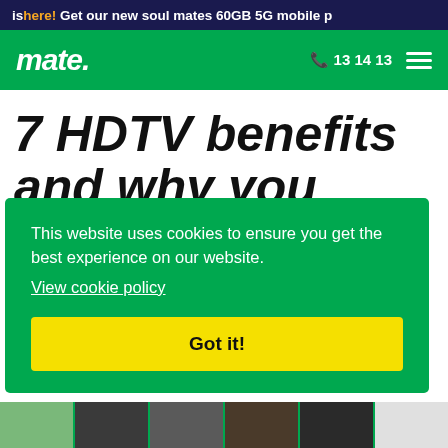is here! Get our new soul mates 60GB 5G mobile p
mate. 13 14 13
7 HDTV benefits and why you need one in
This website uses cookies to ensure you get the best experience on our website.
View cookie policy
Got it!